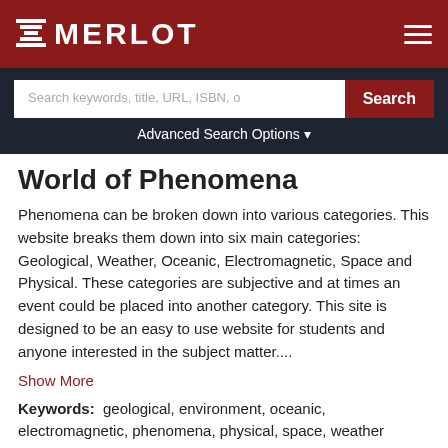MERLOT
Search keywords, title, URL, ISBN, o
Advanced Search Options
World of Phenomena
Phenomena can be broken down into various categories. This website breaks them down into six main categories: Geological, Weather, Oceanic, Electromagnetic, Space and Physical. These categories are subjective and at times an event could be placed into another category. This site is designed to be an easy to use website for students and anyone interested in the subject matter....
Show More
Keywords:  geological, environment, oceanic, electromagnetic, phenomena, physical, space, weather
Disciplines: